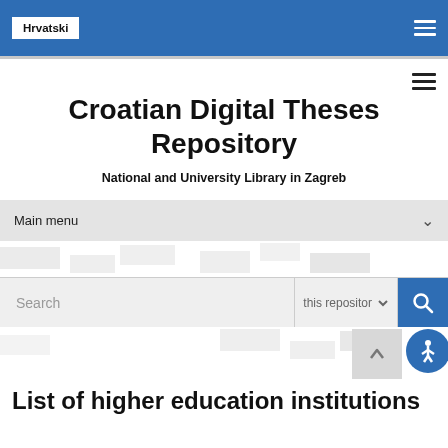Hrvatski
Croatian Digital Theses Repository
National and University Library in Zagreb
Main menu
Search
this repository
List of higher education institutions